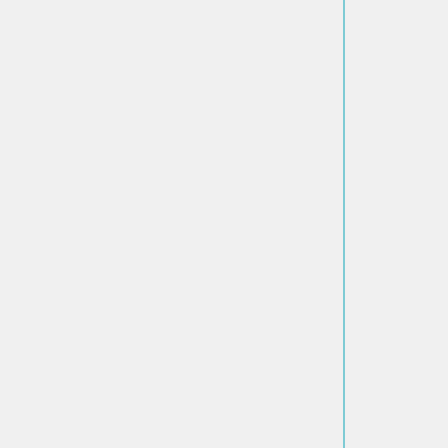Specifies that a shield or buckler alone is not sufficient hand protection for Cut and Thrust combat in Lochac. This is a more restrictive requirement than the